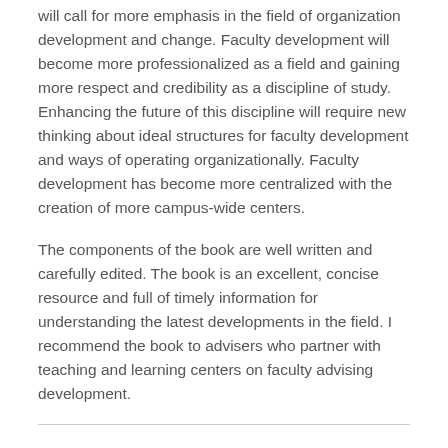will call for more emphasis in the field of organization development and change. Faculty development will become more professionalized as a field and gaining more respect and credibility as a discipline of study. Enhancing the future of this discipline will require new thinking about ideal structures for faculty development and ways of operating organizationally. Faculty development has become more centralized with the creation of more campus-wide centers.
The components of the book are well written and carefully edited. The book is an excellent, concise resource and full of timely information for understanding the latest developments in the field. I recommend the book to advisers who partner with teaching and learning centers on faculty advising development.
The Breadth of Current Faculty Development: Practitioners' Perspectives: Teaching and Learning #133 (2013). Book by C. William McKee, Mitzy Johnson, William Ritchie & Mark